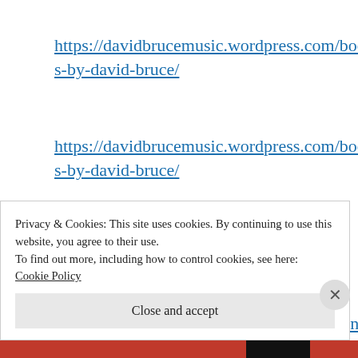https://davidbrucemusic.wordpress.com/books-by-david-bruce/
https://davidbrucemusic.wordpress.com/books-by-david-bruce/
FREE YOU'VE GOT TO BE KIND PDFs
https://cosplayvideos.wordpress.com/kindness-books/
Privacy & Cookies: This site uses cookies. By continuing to use this website, you agree to their use.
To find out more, including how to control cookies, see here:
Cookie Policy
Close and accept